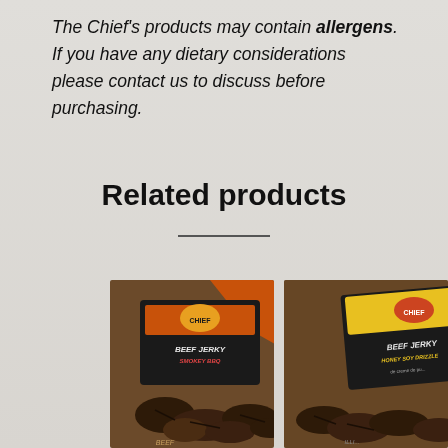The Chief's products may contain allergens. If you have any dietary considerations please contact us to discuss before purchasing.
Related products
[Figure (photo): Two beef jerky product packages side by side: left shows a package with orange/red background labeled 'BEEF JERKY' with pieces of jerky in front, right shows a package with yellow/black background labeled 'BEEF JERKY HONEY SOY DRIZZLE' with pieces of jerky in front, placed on a rustic brown surface.]